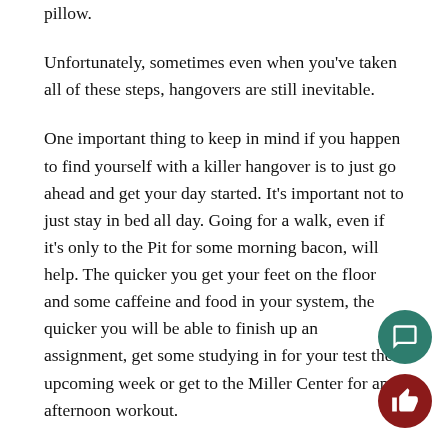pillow.
Unfortunately, sometimes even when you've taken all of these steps, hangovers are still inevitable.
One important thing to keep in mind if you happen to find yourself with a killer hangover is to just go ahead and get your day started. It's important not to just stay in bed all day. Going for a walk, even if it's only to the Pit for some morning bacon, will help. The quicker you get your feet on the floor and some caffeine and food in your system, the quicker you will be able to finish up an assignment, get some studying in for your test the upcoming week or get to the Miller Center for an afternoon workout.
Also, don't forget to utilize your on-campus resources, especially at night. Remember, Subway is open 24/7. Whether beating a hangover means ea...